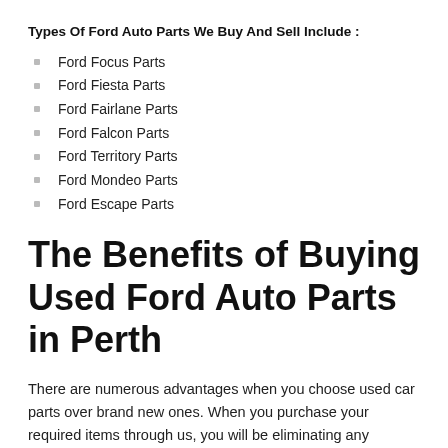Types Of Ford Auto Parts We Buy And Sell Include :
Ford Focus Parts
Ford Fiesta Parts
Ford Fairlane Parts
Ford Falcon Parts
Ford Territory Parts
Ford Mondeo Parts
Ford Escape Parts
The Benefits of Buying Used Ford Auto Parts in Perth
There are numerous advantages when you choose used car parts over brand new ones. When you purchase your required items through us, you will be eliminating any potential risk with a three-month warranty. In addition, we are committed to maintaining quality of service by only providing parts which are in excellent condition. With strict quality control measures, we